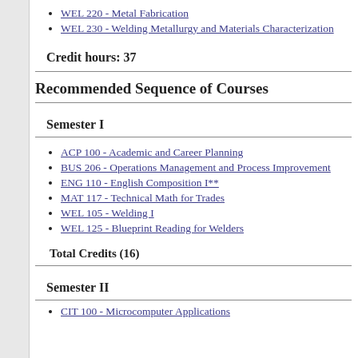WEL 220 - Metal Fabrication
WEL 230 - Welding Metallurgy and Materials Characterization
Credit hours: 37
Recommended Sequence of Courses
Semester I
ACP 100 - Academic and Career Planning
BUS 206 - Operations Management and Process Improvement
ENG 110 - English Composition I**
MAT 117 - Technical Math for Trades
WEL 105 - Welding I
WEL 125 - Blueprint Reading for Welders
Total Credits (16)
Semester II
CIT 100 - Microcomputer Applications